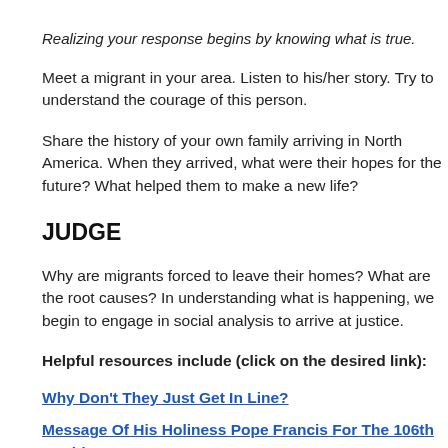Realizing your response begins by knowing what is true.
Meet a migrant in your area. Listen to his/her story. Try to understand the courage of this person.
Share the history of your own family arriving in North America. When they arrived, what were their hopes for the future? What helped them to make a new life?
JUDGE
Why are migrants forced to leave their homes? What are the root causes? In understanding what is happening, we begin to engage in social analysis to arrive at justice.
Helpful resources include (click on the desired link):
Why Don’t They Just Get In Line?
Message Of His Holiness Pope Francis For The 106th World